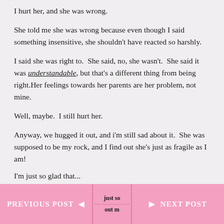I hurt her, and she was wrong.
She told me she was wrong because even though I said something insensitive, she shouldn't have reacted so harshly.
I said she was right to.  She said, no, she wasn't.  She said it was understandable, but that's a different thing from being right.Her feelings towards her parents are her problem, not mine.
Well, maybe.  I still hurt her.
Anyway, we hugged it out, and i'm still sad about it.  She was supposed to be my rock, and I find out she's just as fragile as I am!
PREVIOUS POST  ◄  just so / out m  ►  NEXT POST